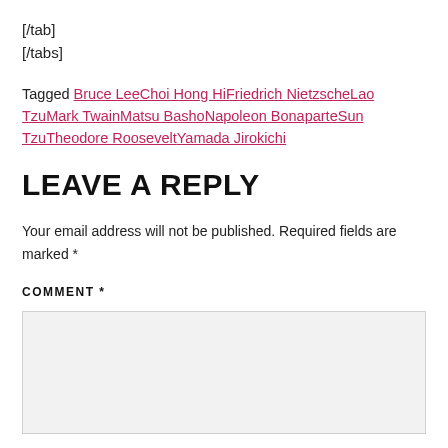[/tab]
[/tabs]
Tagged Bruce LeeChoi Hong HiFriedrich NietzscheLao TzuMark TwainMatsu BashoNapoleon BonaparteSun TzuTheodore RooseveltYamada Jirokichi
LEAVE A REPLY
Your email address will not be published. Required fields are marked *
COMMENT *